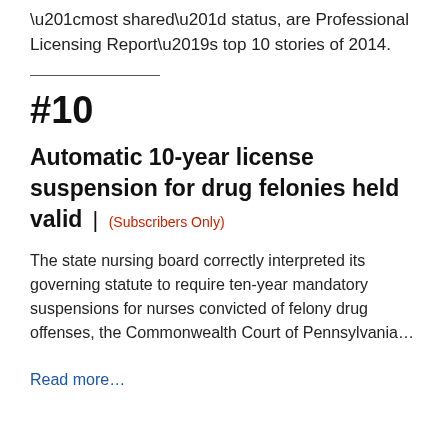“most shared” status, are Professional Licensing Report’s top 10 stories of 2014.
#10
Automatic 10-year license suspension for drug felonies held valid | (Subscribers Only)
The state nursing board correctly interpreted its governing statute to require ten-year mandatory suspensions for nurses convicted of felony drug offenses, the Commonwealth Court of Pennsylvania…
Read more…